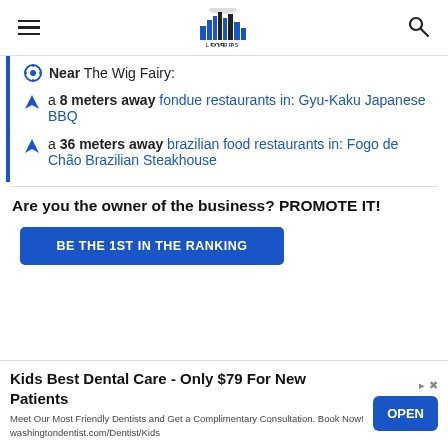FOR LA LOVERS — navigation header with hamburger menu and search icon
Near The Wig Fairy:
a 8 meters away fondue restaurants in: Gyu-Kaku Japanese BBQ
a 36 meters away brazilian food restaurants in: Fogo de Chão Brazilian Steakhouse
Are you the owner of the business? PROMOTE IT!
BE THE 1ST IN THE RANKING
Kids Best Dental Care - Only $79 For New Patients
Meet Our Most Friendly Dentists and Get a Complimentary Consultation. Book Now! washingtondentist.com/Dentist/Kids
OPEN